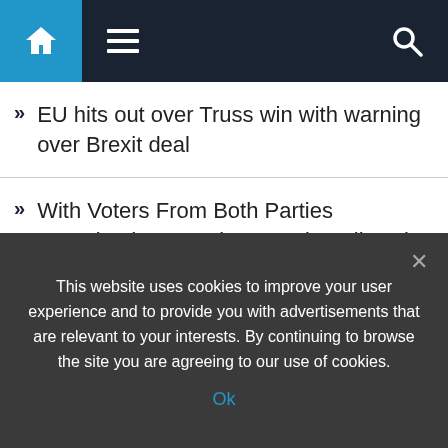Navigation bar with home, menu, and search icons
EU hits out over Truss win with warning over Brexit deal
With Voters From Both Parties Energized, Campaigns Begin Fall Sprint
Shamima Begums chilling confessions from heads in bins to dumb kid mistake
Canada mass stabbing: Horror attack leaves 10 dead
US voters WANT departing Prime Minister in the White
This website uses cookies to improve your user experience and to provide you with advertisements that are relevant to your interests. By continuing to browse the site you are agreeing to our use of cookies.
Ok